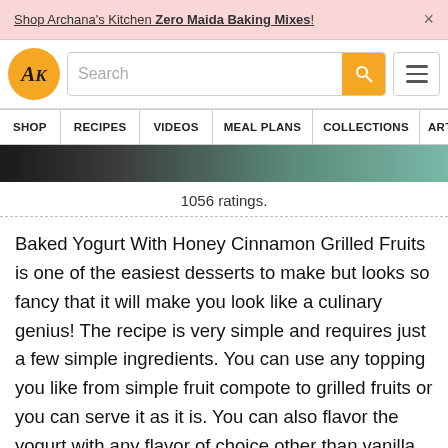Shop Archana's Kitchen Zero Maida Baking Mixes! ×
[Figure (logo): AK logo - circular orange badge with serif italic AK text]
1056 ratings.
Baked Yogurt With Honey Cinnamon Grilled Fruits is one of the easiest desserts to make but looks so fancy that it will make you look like a culinary genius! The recipe is very simple and requires just a few simple ingredients. You can use any topping you like from simple fruit compote to grilled fruits or you can serve it as it is. You can also flavor the yogurt with any flavor of choice other than vanilla